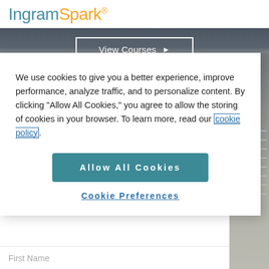IngramSpark®
[Figure (screenshot): Dark chalkboard background with 'View Courses ▶' button in white border]
We use cookies to give you a better experience, improve performance, analyze traffic, and to personalize content. By clicking "Allow All Cookies," you agree to allow the storing of cookies in your browser. To learn more, read our cookie policy.
Allow All Cookies
Cookie Preferences
First Name